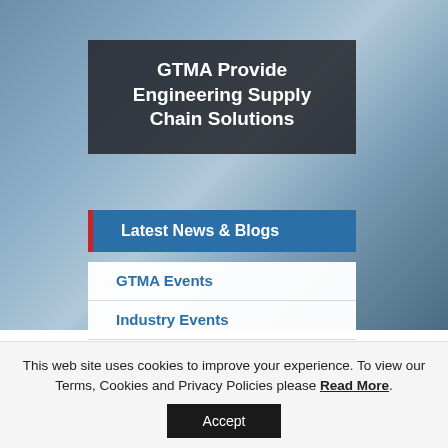[Figure (screenshot): Background blurred photo of engineering/manufacturing setting with blue-grey tones]
GTMA Provide Engineering Supply Chain Solutions
Latest News & Blogs
GTMA Events
Industry Events
New Products & Services
Manufacturing Resource Centre
This web site uses cookies to improve your experience. To view our Terms, Cookies and Privacy Policies please Read More.
Accept